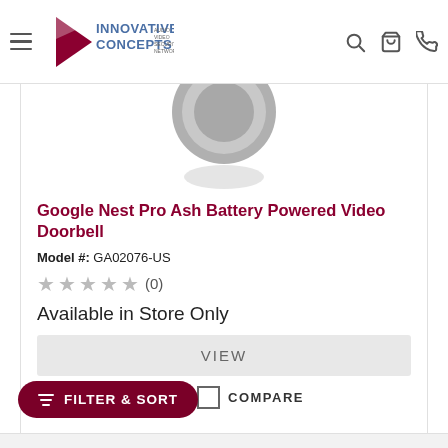[Figure (logo): Innovative Concepts logo with red play button triangle and text: INNOVATIVE CONCEPTS AUDIO VIDEO SECURITY NETWORKING]
[Figure (photo): Partial view of Google Nest Pro Ash Battery Powered Video Doorbell - circular gray doorbell button visible]
Google Nest Pro Ash Battery Powered Video Doorbell
Model #: GA02076-US
★★★★★ (0)
Available in Store Only
VIEW
COMPARE